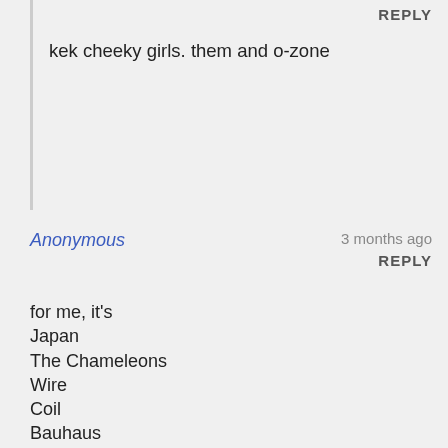kek cheeky girls. them and o-zone
REPLY
Anonymous
3 months ago
REPLY
for me, it's
Japan
The Chameleons
Wire
Coil
Bauhaus
Cabaret Voltaire
Echo & the Bunnymen
Magazine
This Heat
Siouxsie and the Banshees